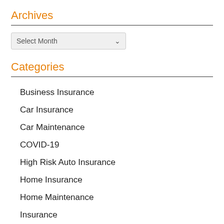Archives
[Figure (screenshot): Select Month dropdown widget]
Categories
Business Insurance
Car Insurance
Car Maintenance
COVID-19
High Risk Auto Insurance
Home Insurance
Home Maintenance
Insurance
Insurance Buddy Updates
Insurance Q & A
Insurance Terms Defined